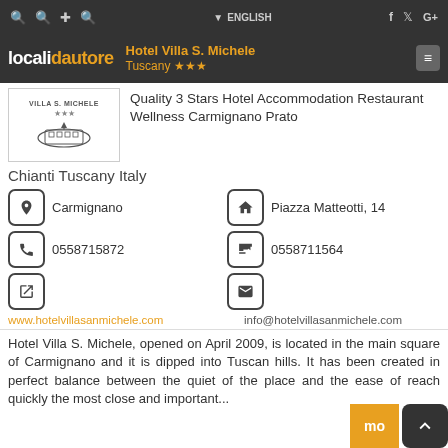localidautore - Hotel Villa S. Michele Tuscany ***
[Figure (logo): Villa S. Michele hotel logo with building illustration and three stars]
Quality 3 Stars Hotel Accommodation Restaurant Wellness Carmignano Prato
Chianti Tuscany Italy
Carmignano
Piazza Matteotti, 14
0558715872
0558711564
www.hotelvillasanmichele.com
info@hotelvillasanmichele.com
Hotel Villa S. Michele, opened on April 2009, is located in the main square of Carmignano and it is dipped into Tuscan hills. It has been created in perfect balance between the quiet of the place and the ease of reach quickly the most close and important...